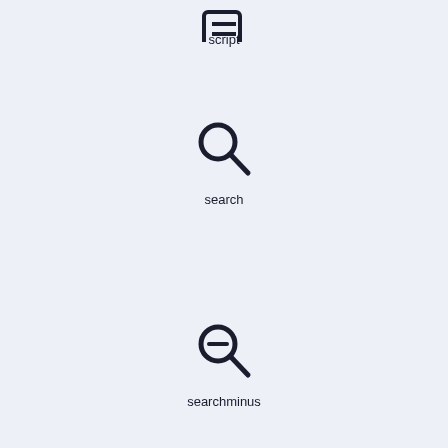[Figure (illustration): script icon (partially visible at top)]
script
[Figure (illustration): search icon - magnifying glass]
search
[Figure (illustration): searchminus icon - magnifying glass with minus]
searchminus
[Figure (illustration): searchplus icon - magnifying glass with plus]
searchplus
[Figure (illustration): server icon - stacked server layers]
server
[Figure (illustration): settings icon - gear/cog wheel]
settings